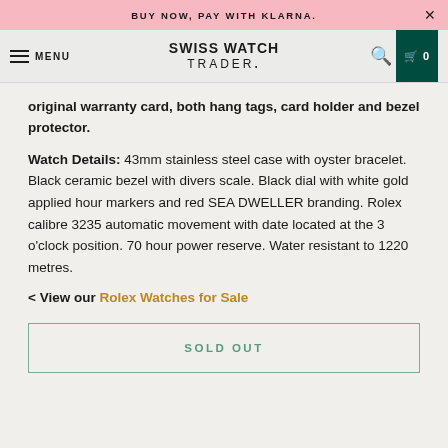BUY NOW, PAY WITH KLARNA.
SWISS WATCH TRADER.
original warranty card, both hang tags, card holder and bezel protector.
Watch Details: 43mm stainless steel case with oyster bracelet. Black ceramic bezel with divers scale. Black dial with white gold applied hour markers and red SEA DWELLER branding. Rolex calibre 3235 automatic movement with date located at the 3 o'clock position. 70 hour power reserve. Water resistant to 1220 metres.
< View our Rolex Watches for Sale
SOLD OUT